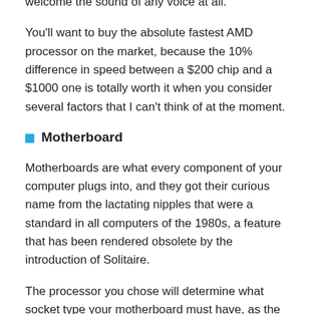welcome the sound of any voice at all.
You'll want to buy the absolute fastest AMD processor on the market, because the 10% difference in speed between a $200 chip and a $1000 one is totally worth it when you consider several factors that I can't think of at the moment.
Motherboard
Motherboards are what every component of your computer plugs into, and they got their curious name from the lactating nipples that were a standard in all computers of the 1980s, a feature that has been rendered obsolete by the introduction of Solitaire.
The processor you chose will determine what socket type your motherboard must have, as the AMD 64 uses Socket 939. You could buy a